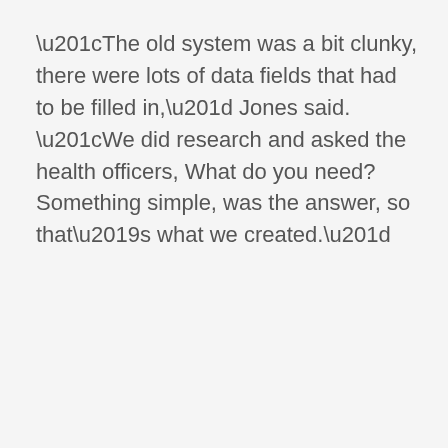“The old system was a bit clunky, there were lots of data fields that had to be filled in,” Jones said. “We did research and asked the health officers, What do you need? Something simple, was the answer, so that’s what we created.”